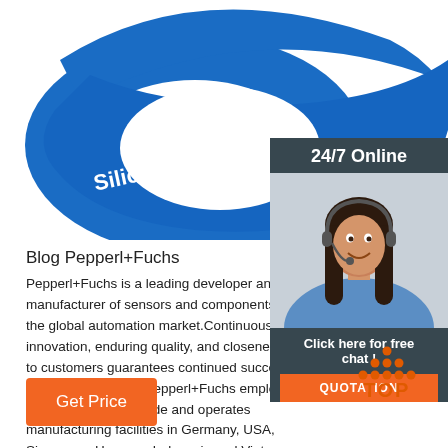[Figure (photo): Blue RFID silicone wristband with text 'Silicone Wristband' and '(( RFID' embossed on it, photographed on white background]
[Figure (infographic): 24/7 Online customer service panel with a woman wearing a headset, 'Click here for free chat!' text, and an orange QUOTATION button]
Blog Pepperl+Fuchs
Pepperl+Fuchs is a leading developer and manufacturer of sensors and components for the global automation market.Continuous innovation, enduring quality, and closeness to customers guarantees continued success, since more than 60 Pepperl+Fuchs employs 5,600 people worldwide and operates manufacturing facilities in Germany, USA, Singapore, Hungary, Indonesia and Vietnam, most of them …
[Figure (infographic): Orange TOP button with dot pattern above the letters]
Get Price